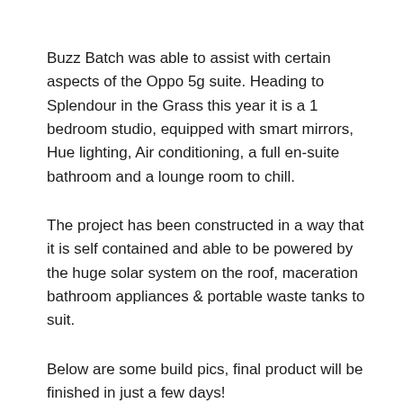Buzz Batch was able to assist with certain aspects of the Oppo 5g suite. Heading to Splendour in the Grass this year it is a 1 bedroom studio, equipped with smart mirrors, Hue lighting, Air conditioning, a full en-suite bathroom and a lounge room to chill.
The project has been constructed in a way that it is self contained and able to be powered by the huge solar system on the roof, maceration bathroom appliances & portable waste tanks to suit.
Below are some build pics, final product will be finished in just a few days!